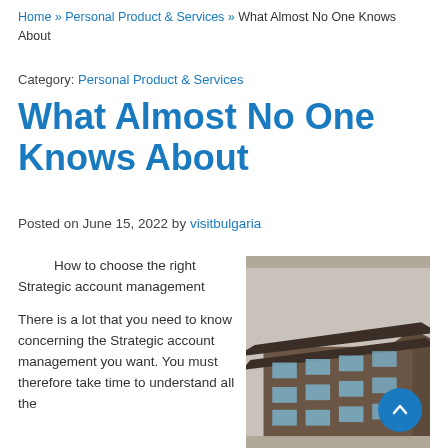Home » Personal Product & Services » What Almost No One Knows About
Category: Personal Product & Services
What Almost No One Knows About
Posted on June 15, 2022 by visitbulgaria
How to choose the right Strategic account management
There is a lot that you need to know concerning the Strategic account management you want. You must therefore take time to understand all the
[Figure (photo): Exterior photo of a modern multi-storey building with large windows, viewed from below at an angle against a light sky.]